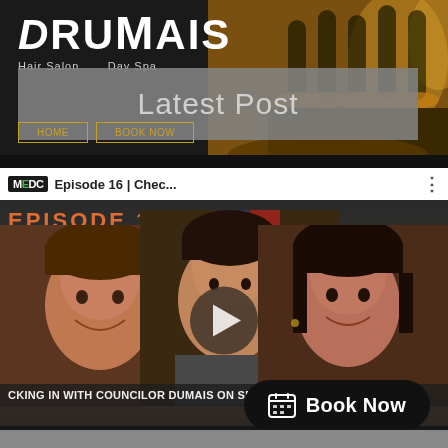[Figure (screenshot): Drumais Hair Salon Day Spa website header with white logo on dark background and salon chairs visible on right side]
Latest Post
[Figure (screenshot): MEDC YouTube video embed: Episode 16 | Chec... - Checking In With Councilor Dumais On Small Business, Exploring Economic Development with M, with play button overlay and three people visible]
Book Now